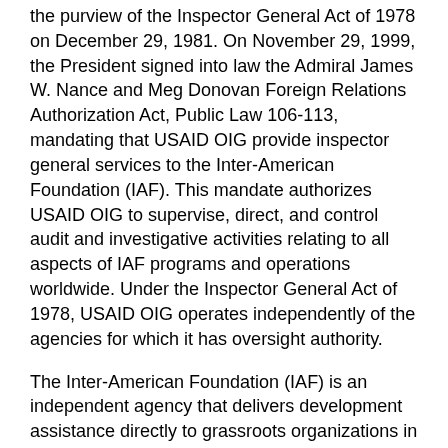the purview of the Inspector General Act of 1978 on December 29, 1981. On November 29, 1999, the President signed into law the Admiral James W. Nance and Meg Donovan Foreign Relations Authorization Act, Public Law 106-113, mandating that USAID OIG provide inspector general services to the Inter-American Foundation (IAF). This mandate authorizes USAID OIG to supervise, direct, and control audit and investigative activities relating to all aspects of IAF programs and operations worldwide. Under the Inspector General Act of 1978, USAID OIG operates independently of the agencies for which it has oversight authority.
The Inter-American Foundation (IAF) is an independent agency that delivers development assistance directly to grassroots organizations in Latin America and the Caribbean. Created through the Foreign Assistance Act of 1969, IAF was designed to channel development assistance directly to the organized poor in Latin America and the Caribbean. IAF provides grants to grassroots groups and nongovernmental